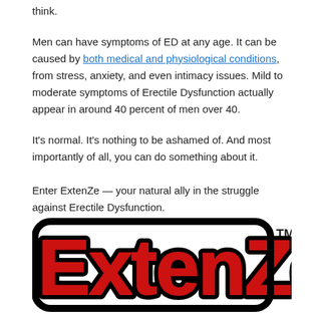think.
Men can have symptoms of ED at any age. It can be caused by both medical and physiological conditions, from stress, anxiety, and even intimacy issues. Mild to moderate symptoms of Erectile Dysfunction actually appear in around 40 percent of men over 40.
It's normal. It's nothing to be ashamed of. And most importantly of all, you can do something about it.
Enter ExtenZe — your natural ally in the struggle against Erectile Dysfunction.
[Figure (logo): ExtenZe logo in large red bold rounded letters with black outline and TM mark]